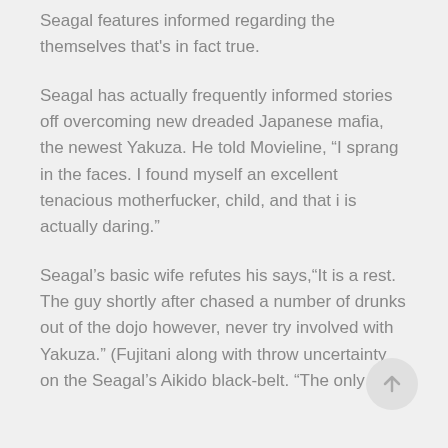Seagal features informed regarding the themselves that's in fact true.
Seagal has actually frequently informed stories off overcoming new dreaded Japanese mafia, the newest Yakuza. He told Movieline, “I sprang in the faces. I found myself an excellent tenacious motherfucker, child, and that i is actually daring.”
Seagal’s basic wife refutes his says,“It is a rest. The guy shortly after chased a number of drunks out of the dojo however, never try involved with Yakuza.” (Fujitani along with throw uncertainty on the Seagal’s Aikido black-belt. “The only